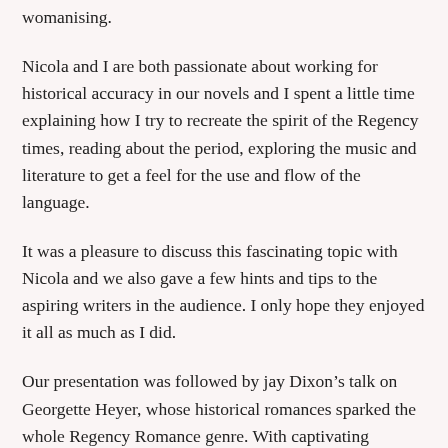womanising.
Nicola and I are both passionate about working for historical accuracy in our novels and I spent a little time explaining how I try to recreate the spirit of the Regency times, reading about the period, exploring the music and literature to get a feel for the use and flow of the language.
It was a pleasure to discuss this fascinating topic with Nicola and we also gave a few hints and tips to the aspiring writers in the audience. I only hope they enjoyed it all as much as I did.
Our presentation was followed by jay Dixon’s talk on Georgette Heyer, whose historical romances sparked the whole Regency Romance genre. With captivating insights into the writer’s life and works, jay explained how Heyer explored various writing styles and created the Regency novels that are enjoyed by millions of readers world-wide. Like many other writers, I discovered Heyer in my teens and my love for her work is as strong as ever – I still return to her books as my “comfort reads” when I need to pamper myself!
You can read more about the exhibition and Regency Day on my